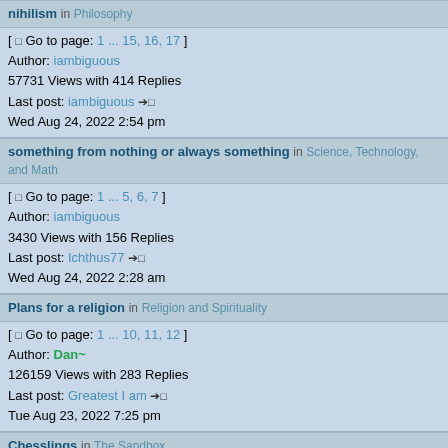nihilism in Philosophy
[ Go to page: 1 ... 15, 16, 17 ]
Author: iambiguous
57731 Views with 414 Replies
Last post: iambiguous →□
Wed Aug 24, 2022 2:54 pm
something from nothing or always something in Science, Technology, and Math
[ Go to page: 1 ... 5, 6, 7 ]
Author: iambiguous
3430 Views with 156 Replies
Last post: Ichthus77 →□
Wed Aug 24, 2022 2:28 am
Plans for a religion in Religion and Spirituality
[ Go to page: 1 ... 10, 11, 12 ]
Author: Dan~
126159 Views with 283 Replies
Last post: Greatest I am →□
Tue Aug 23, 2022 7:25 pm
Chesslings in The Sandbox
[ Go to page: 1 ... 6, 7, 8 ]
Author: Jakob
53522 Views with 193 Replies
Last post: Fixed Cross →□
Tue Aug 23, 2022 5:05 pm